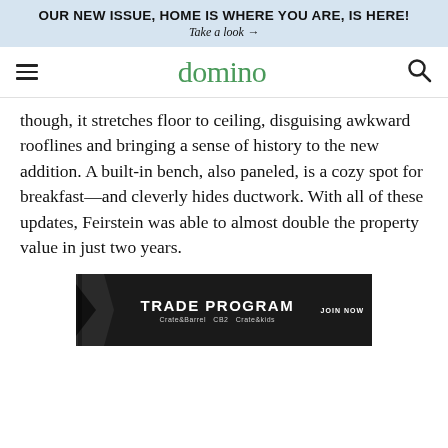OUR NEW ISSUE, HOME IS WHERE YOU ARE, IS HERE! Take a look →
[Figure (logo): Domino magazine navigation bar with hamburger menu, green 'domino' logo, and search icon]
though, it stretches floor to ceiling, disguising awkward rooflines and bringing a sense of history to the new addition. A built-in bench, also paneled, is a cozy spot for breakfast—and cleverly hides ductwork. With all of these updates, Feirstein was able to almost double the property value in just two years.
[Figure (other): Advertisement banner for Crate&Barrel Trade Program showing dark marble background with 'TRADE PROGRAM' text, Crate&Barrel CB2 Crate&kids logos, and JOIN NOW button]